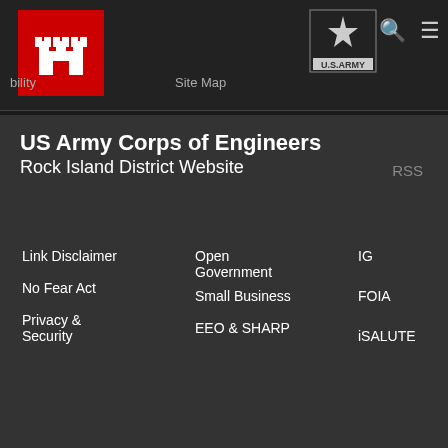[Figure (logo): US Army Corps of Engineers castle logo in red box]
Site Map
[Figure (logo): U.S. Army logo with star]
US Army Corps of Engineers
Rock Island District Website
RSS
Link Disclaimer
No Fear Act
Privacy & Security
Open Government
Small Business
EEO & SHARP
IG
FOIA
iSALUTE
Hosted by Defense Media Activity - WEB.mil